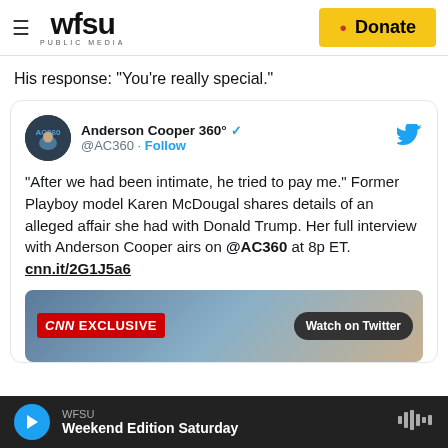WFSU PUBLIC MEDIA | Donate
His response: "You're really special."
[Figure (screenshot): Embedded tweet from @AC360 (Anderson Cooper 360°) reading: "After we had been intimate, he tried to pay me." Former Playboy model Karen McDougal shares details of an alleged affair she had with Donald Trump. Her full interview with Anderson Cooper airs on @AC360 at 8p ET. cnn.it/2G1J5a6. With a CNN EXCLUSIVE thumbnail and Watch on Twitter button.]
WFSU — Weekend Edition Saturday (audio player)